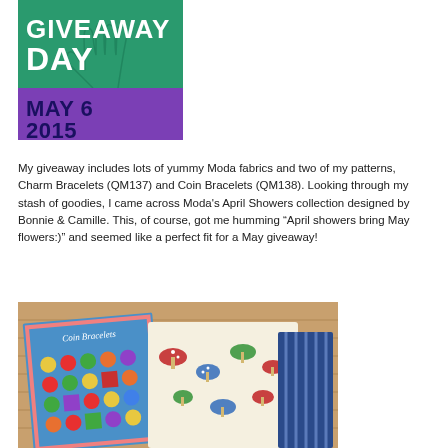[Figure (illustration): Giveaway Day promotional image. Green background with white text 'GIVEAWAY DAY' above an illustrated hand, and purple banner below with dark navy text 'MAY 6 2015'.]
My giveaway includes lots of yummy Moda fabrics and two of my patterns, Charm Bracelets (QM137) and Coin Bracelets (QM138).  Looking through my stash of goodies, I came across Moda’s April Showers collection designed by Bonnie & Camille.  This, of course, got me humming “April showers bring May flowers:)” and seemed like a perfect fit for a May giveaway!
[Figure (photo): Photo of Coin Bracelets quilt pattern booklet leaning against a wooden wall, alongside fabric pieces with mushroom/umbrella print and stripe patterns, and dark navy fabric.]